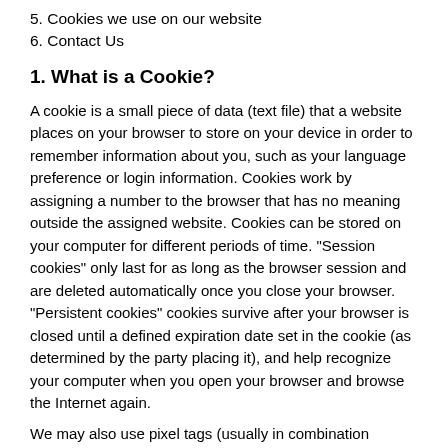5. Cookies we use on our website
6. Contact Us
1. What is a Cookie?
A cookie is a small piece of data (text file) that a website places on your browser to store on your device in order to remember information about you, such as your language preference or login information. Cookies work by assigning a number to the browser that has no meaning outside the assigned website. Cookies can be stored on your computer for different periods of time. "Session cookies" only last for as long as the browser session and are deleted automatically once you close your browser. "Persistent cookies" cookies survive after your browser is closed until a defined expiration date set in the cookie (as determined by the party placing it), and help recognize your computer when you open your browser and browse the Internet again.
We may also use pixel tags (usually in combination